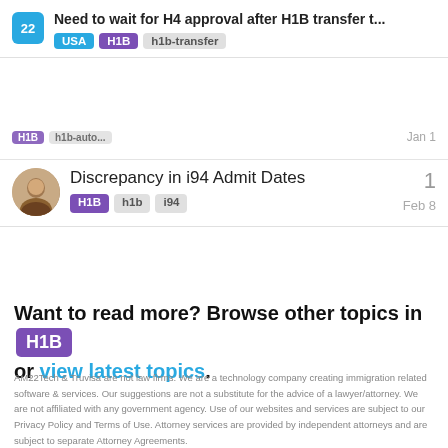Need to wait for H4 approval after H1B transfer t...
Tags: USA, H1B, h1b-transfer
Discrepancy in i94 Admit Dates
Tags: H1B, h1b, i94 | Count: 1 | Date: Feb 8
Want to read more? Browse other topics in H1B or view latest topics.
AM22Tech & Truvisa are not law firms. We are a technology company creating immigration related software & services. Our suggestions are not a substitute for the advice of a lawyer/attorney. We are not affiliated with any government agency. Use of our websites and services are subject to our Privacy Policy and Terms of Use. Attorney services are provided by independent attorneys and are subject to separate Attorney Agreements.